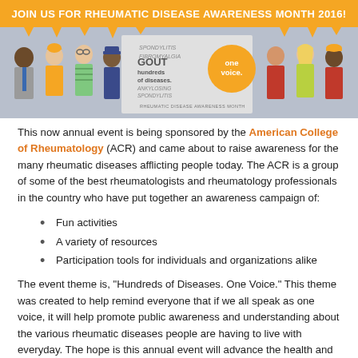[Figure (infographic): Banner for Rheumatic Disease Awareness Month 2016 with illustrated diverse people figures, center logo reading 'Spondylitis, Gout, hundreds of diseases, one voice', an orange circular badge saying 'one voice.', and 'RHEUMATIC DISEASE AWARENESS MONTH' text at bottom. Orange speech-bubble top bar with white text 'JOIN US FOR RHEUMATIC DISEASE AWARENESS MONTH 2016!']
This now annual event is being sponsored by the American College of Rheumatology (ACR) and came about to raise awareness for the many rheumatic diseases afflicting people today. The ACR is a group of some of the best rheumatologists and rheumatology professionals in the country who have put together an awareness campaign of:
Fun activities
A variety of resources
Participation tools for individuals and organizations alike
The event theme is, "Hundreds of Diseases. One Voice." This theme was created to help remind everyone that if we all speak as one voice, it will help promote public awareness and understanding about the various rheumatic diseases people are having to live with everyday. The hope is this annual event will advance the health and